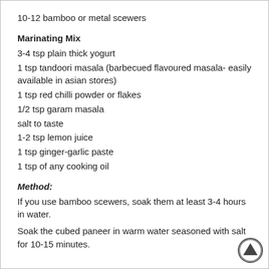10-12 bamboo or metal scewers
Marinating Mix
3-4 tsp plain thick yogurt
1 tsp tandoori masala (barbecued flavoured masala- easily available in asian stores)
1 tsp red chilli powder or flakes
1/2 tsp garam masala
salt to taste
1-2 tsp lemon juice
1 tsp ginger-garlic paste
1 tsp of any cooking oil
Method:
If you use bamboo scewers, soak them at least 3-4 hours in water.
Soak the cubed paneer in warm water seasoned with salt for 10-15 minutes.